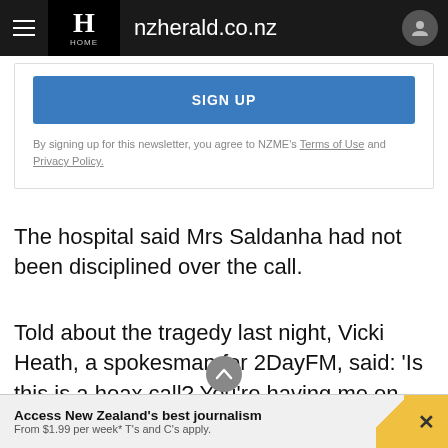nzherald.co.nz
SIGN UP
By signing up for this newsletter, you agree to NZME's Terms of Use and Privacy Policy.
The hospital said Mrs Saldanha had not been disciplined over the call.
Told about the tragedy last night, Vicki Heath, a spokesman for 2DayFM, said: 'Is this is a hoax call? You're having me on, aren't you?' Assured that the call
Access New Zealand's best journalism From $1.99 per week* T's and C's apply.